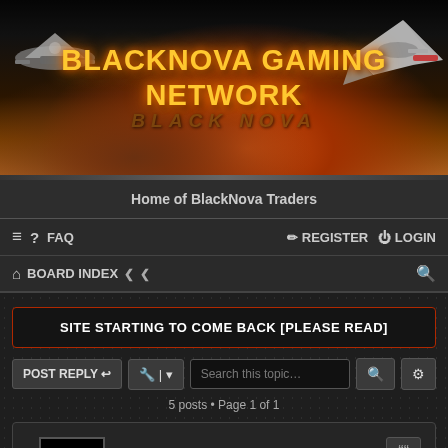[Figure (illustration): BlackNova Gaming Network banner with space theme, spacecraft, planet surface, and bold title text]
Home of BlackNova Traders
≡  ?  FAQ    REGISTER   LOGIN
BOARD INDEX  ‹  ‹
SITE STARTING TO COME BACK [PLEASE READ]
POST REPLY   Search this topic...
5 posts • Page 1 of 1
[Figure (photo): User avatar for TheMightyDude showing dark red nebula image]
TheMightyDude
Site Admin
Site starting to come back [PLEASE READ]